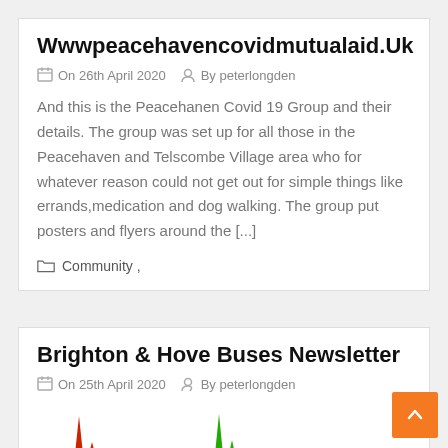Wwwpeacehavencovidmutualaid.Uk
On 26th April 2020   By peterlongden
And this is the Peacehanen Covid 19 Group and their details. The group was set up for all those in the Peacehaven and Telscombe Village area who for whatever reason could not get out for simple things like errands,medication and dog walking. The group put posters and flyers around the [...]
Community ,
Brighton & Hove Buses Newsletter
On 25th April 2020   By peterlongden
[Figure (illustration): Partial view of a small chart or image at the bottom of the card, showing small red and green spike shapes]